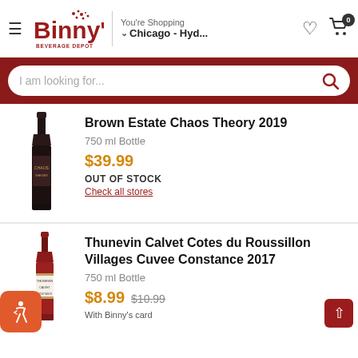Binny's Beverage Depot — You're Shopping Chicago - Hyd...
I am looking for...
[Figure (photo): Dark red wine bottle for Brown Estate Chaos Theory 2019]
Brown Estate Chaos Theory 2019
750 ml Bottle
$39.99
OUT OF STOCK
Check all stores
[Figure (photo): Red wine bottle for Thunevin Calvet Cotes du Roussillon Villages Cuvee Constance 2017]
Thunevin Calvet Cotes du Roussillon Villages Cuvee Constance 2017
750 ml Bottle
$8.99  $10.99
With Binny's card